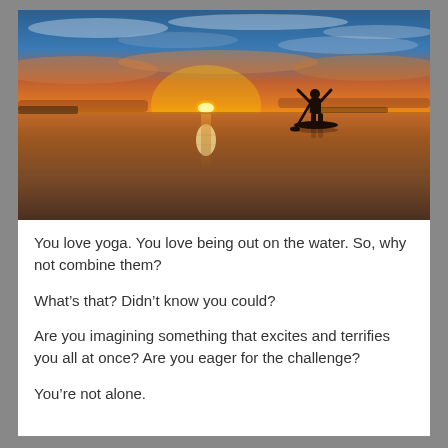[Figure (photo): A silhouette of a person stand-up paddle boarding on calm water at sunset, with dramatic orange, red, and blue sky reflected on the water surface.]
You love yoga. You love being out on the water. So, why not combine them?
What’s that? Didn’t know you could?
Are you imagining something that excites and terrifies you all at once? Are you eager for the challenge?
You’re not alone.